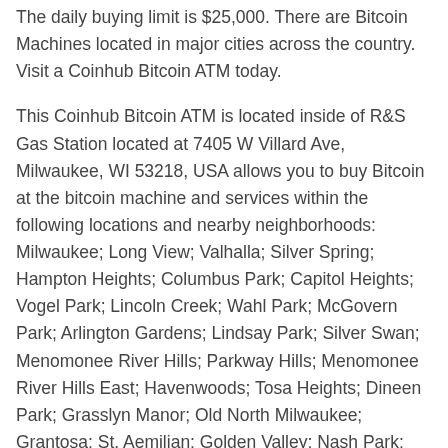The daily buying limit is $25,000. There are Bitcoin Machines located in major cities across the country. Visit a Coinhub Bitcoin ATM today.
This Coinhub Bitcoin ATM is located inside of R&S Gas Station located at 7405 W Villard Ave, Milwaukee, WI 53218, USA allows you to buy Bitcoin at the bitcoin machine and services within the following locations and nearby neighborhoods: Milwaukee; Long View; Valhalla; Silver Spring; Hampton Heights; Columbus Park; Capitol Heights; Vogel Park; Lincoln Creek; Wahl Park; McGovern Park; Arlington Gardens; Lindsay Park; Silver Swan; Menomonee River Hills; Parkway Hills; Menomonee River Hills East; Havenwoods; Tosa Heights; Dineen Park; Grasslyn Manor; Old North Milwaukee; Grantosa; St. Aemilian; Golden Valley; Nash Park; Timmerman West; Enderis Park; Graceland; Wyrick Park; Park Ridge; Little Menomonee